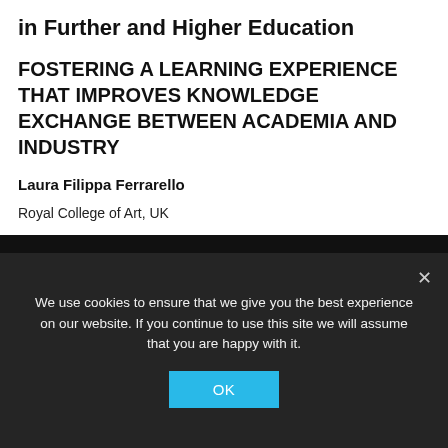in Further and Higher Education
FOSTERING A LEARNING EXPERIENCE THAT IMPROVES KNOWLEDGE EXCHANGE BETWEEN ACADEMIA AND INDUSTRY
Laura Filippa Ferrarello
Royal College of Art, UK
do: https://doi.org/10.35199/EPDE.2020.39
We use cookies to ensure that we give you the best experience on our website. If you continue to use this site we will assume that you are happy with it.